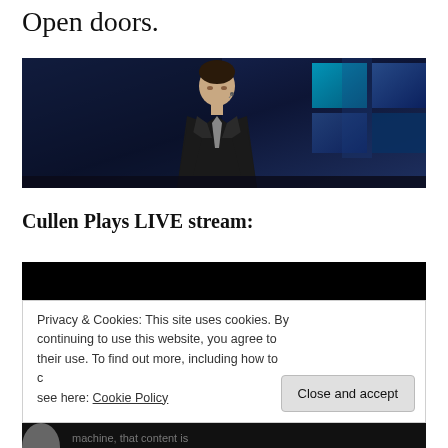Open doors.
[Figure (photo): A man in a black suit with a lapel microphone speaking on a dark blue stage with geometric light patterns in the background.]
Cullen Plays LIVE stream:
[Figure (screenshot): A video player with a black top bar and a cookie consent notice overlay with a Close and accept button. Bottom strip shows partial text about machine that content is.]
Privacy & Cookies: This site uses cookies. By continuing to use this website, you agree to their use. To find out more, including how to control cookies, see here: Cookie Policy